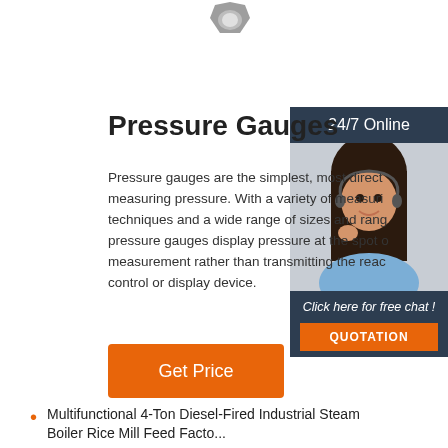[Figure (photo): Small product image of a pressure gauge viewed from top, partially visible at top of page]
Pressure Gauges
Pressure gauges are the simplest, most direct measuring pressure. With a variety of measuring techniques and a wide range of sizes and ranges, pressure gauges display pressure at the spot of measurement rather than transmitting the reading to a control or display device.
[Figure (photo): Customer service representative woman with headset smiling, shown in sidebar with '24/7 Online' header and 'Click here for free chat!' text and QUOTATION button]
Get Price
Multifunctional 4-Ton Diesel-Fired Industrial Steam Boiler Rice Mill Feed Facto...